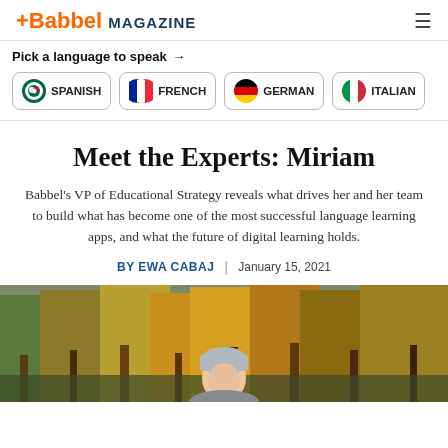+Babbel MAGAZINE
Pick a language to speak →
SPANISH | FRENCH | GERMAN | ITALIAN
Meet the Experts: Miriam
Babbel's VP of Educational Strategy reveals what drives her and her team to build what has become one of the most successful language learning apps, and what the future of digital learning holds.
BY EWA CABAJ | January 15, 2021
[Figure (photo): Outdoor autumn photo of a woman wearing a grey knit beanie hat, surrounded by yellow and orange autumn foliage trees]